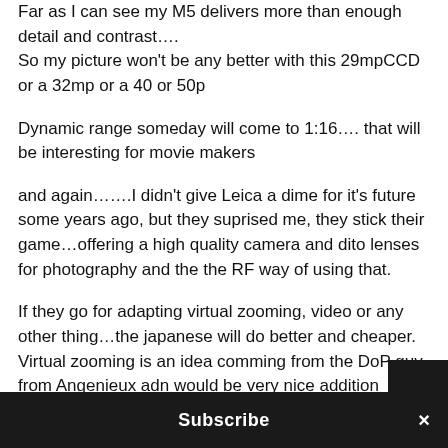Far as I can see my M5 delivers more than enough detail and contrast….
So my picture won't be any better with this 29mpCCD or a 32mp or a 40 or 50p
Dynamic range someday will come to 1:16…. that will be interesting for movie makers
and again…….I didn't give Leica a dime for it's future some years ago, but they suprised me, they stick their game…offering a high quality camera and dito lenses for photography and the the RF way of using that.
If they go for adapting virtual zooming, video or any other thing…the japanese will do better and cheaper. Virtual zooming is an idea comming from the DoP guy from Angenieux adn would be very nice addition
Subscribe ×